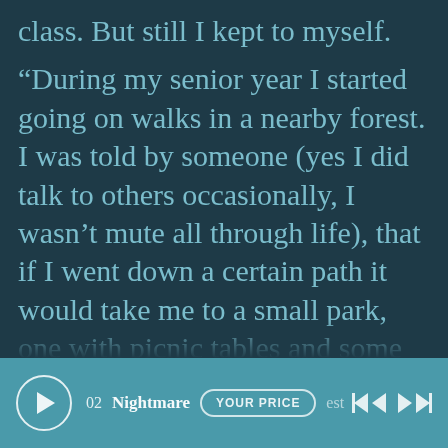class. But still I kept to myself.
“During my senior year I started going on walks in a nearby forest. I was told by someone (yes I did talk to others occasionally, I wasn’t mute all through life), that if I went down a certain path it would take me to a small park, one with picnic tables and some swings and a grassy area. One day I found that trail, but instead of a park there was this
[Figure (screenshot): Media player bar showing a play button, track '02 Nightmare', a 'YOUR PRICE' badge, and skip controls]